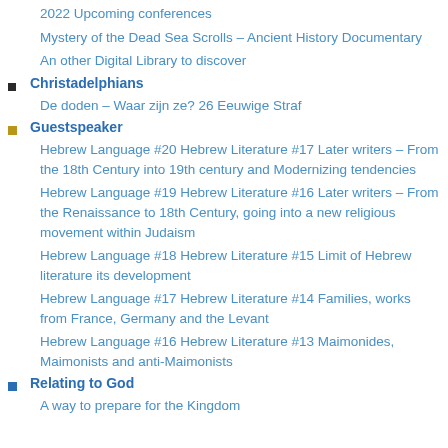2022 Upcoming conferences
Mystery of the Dead Sea Scrolls – Ancient History Documentary
An other Digital Library to discover
Christadelphians
De doden – Waar zijn ze? 26 Eeuwige Straf
Guestspeaker
Hebrew Language #20 Hebrew Literature #17 Later writers – From the 18th Century into 19th century and Modernizing tendencies
Hebrew Language #19 Hebrew Literature #16 Later writers – From the Renaissance to 18th Century, going into a new religious movement within Judaism
Hebrew Language #18 Hebrew Literature #15 Limit of Hebrew literature its development
Hebrew Language #17 Hebrew Literature #14 Families, works from France, Germany and the Levant
Hebrew Language #16 Hebrew Literature #13 Maimonides, Maimonists and anti-Maimonists
Relating to God
A way to prepare for the Kingdom